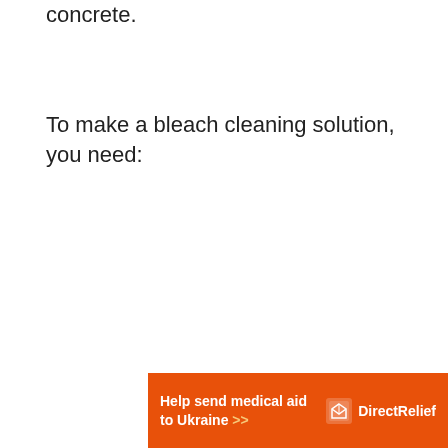concrete.
To make a bleach cleaning solution, you need:
[Figure (other): Orange banner advertisement for Direct Relief with text 'Help send medical aid to Ukraine >>' and the Direct Relief logo]